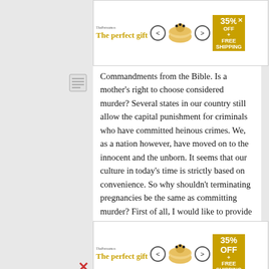[Figure (other): Advertisement banner at top: 'The perfect gift' with food bowl image, navigation arrows, and '35% OFF + FREE SHIPPING' promo badge]
Commandments from the Bible. Is a mother's right to choose considered murder? Several states in our country still allow the capital punishment for criminals who have committed heinous crimes. We, as a nation however, have moved on to the innocent and the unborn. It seems that our culture in today's time is strictly based on convenience. So why shouldn't terminating pregnancies be the same as committing murder? First of all, I would like to provide some interesting facts on abortion. Abortion became legal in the United States in 1973 with the landmark decision in Roe versus Wade. According to the Centers for Disease Control (CDC) and the Guttmacher Institute (AGI), there were 1.21 million abortions in the United States in 2008, which is the most recent data
[Figure (other): Advertisement banner at bottom: 'The perfect gift' with food bowl image, navigation arrows, and '35% OFF + FREE SHIPPING' promo badge]